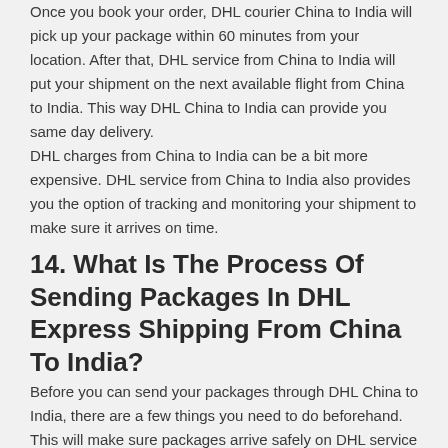Once you book your order, DHL courier China to India will pick up your package within 60 minutes from your location. After that, DHL service from China to India will put your shipment on the next available flight from China to India. This way DHL China to India can provide you same day delivery. DHL charges from China to India can be a bit more expensive. DHL service from China to India also provides you the option of tracking and monitoring your shipment to make sure it arrives on time.
14. What Is The Process Of Sending Packages In DHL Express Shipping From China To India?
Before you can send your packages through DHL China to India, there are a few things you need to do beforehand. This will make sure packages arrive safely on DHL service from China to India.
Here are the five key steps you need to follow for sending